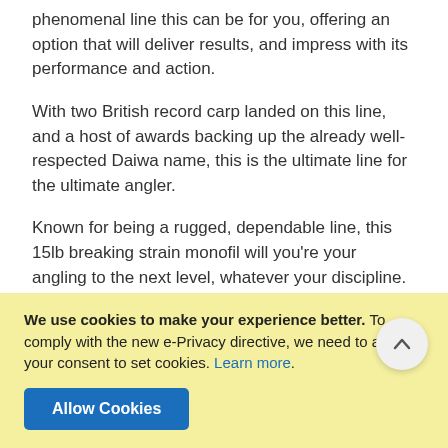phenomenal line this can be for you, offering an option that will deliver results, and impress with its performance and action.
With two British record carp landed on this line, and a host of awards backing up the already well-respected Daiwa name, this is the ultimate line for the ultimate angler.
Known for being a rugged, dependable line, this 15lb breaking strain monofil will you're your angling to the next level, whatever your discipline. Proving that sometimes the classics are the best, this is one line that won't disappoint its user, giving a taut, strong pull when paired with the right reel. It's this highly responsive action that has made this the go-to option for anglers of all levels of experience across multiple disciplines. Good for whatever kind of angling experience you enjoy, or are looking to start, this monofil is a sure-fire guarantee of getting that dream catch. With this piece of
We use cookies to make your experience better. To comply with the new e-Privacy directive, we need to ask for your consent to set cookies. Learn more.